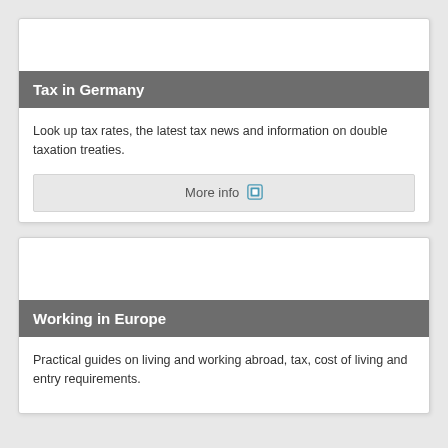Tax in Germany
Look up tax rates, the latest tax news and information on double taxation treaties.
More info
Working in Europe
Practical guides on living and working abroad, tax, cost of living and entry requirements.